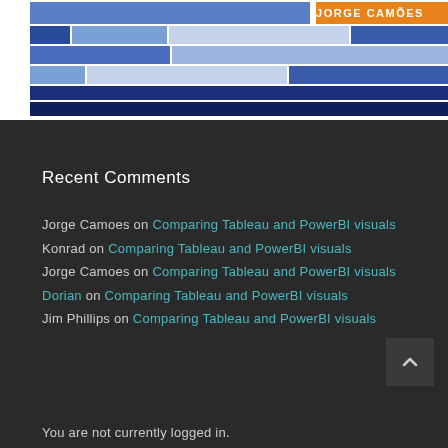[Figure (illustration): Book cover image with blue rectangular blocks pattern and 'JORGE CAMÕES' text on an orange stripe in the upper right. Dark blue and medium blue rectangles arranged in a grid pattern.]
Recent Comments
Jorge Camoes on Comparing Tableau and PowerBI visuals
Konrad on Comparing Tableau and PowerBI visuals
Jorge Camoes on Comparing Tableau and PowerBI visuals
Dorian on Comparing Tableau and PowerBI visuals
Jim Phillips on Comparing Tableau and PowerBI visuals
You are not currently logged in.